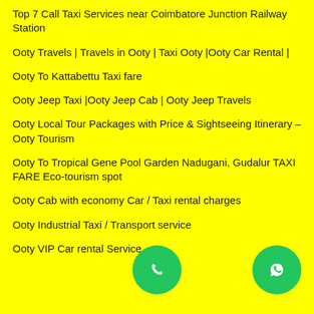Top 7 Call Taxi Services near Coimbatore Junction Railway Station
Ooty Travels | Travels in Ooty | Taxi Ooty |Ooty Car Rental |
Ooty To Kattabettu Taxi fare
Ooty Jeep Taxi |Ooty Jeep Cab | Ooty Jeep Travels
Ooty Local Tour Packages with Price & Sightseeing Itinerary – Ooty Tourism
Ooty To Tropical Gene Pool Garden Nadugani, Gudalur TAXI FARE Eco-tourism spot
Ooty Cab with economy Car / Taxi rental charges
Ooty Industrial Taxi / Transport service
Ooty VIP Car rental Service